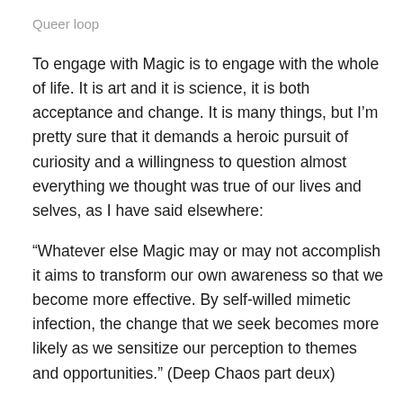Queer loop
To engage with Magic is to engage with the whole of life. It is art and it is science, it is both acceptance and change. It is many things, but I'm pretty sure that it demands a heroic pursuit of curiosity and a willingness to question almost everything we thought was true of our lives and selves, as I have said elsewhere:
“Whatever else Magic may or may not accomplish it aims to transform our own awareness so that we become more effective. By self-willed mimetic infection, the change that we seek becomes more likely as we sensitize our perception to themes and opportunities.” (Deep Chaos part deux)
To enter the circle or to cast a spell means to lift anchor on what we thought we knew about ourselves. Whatever